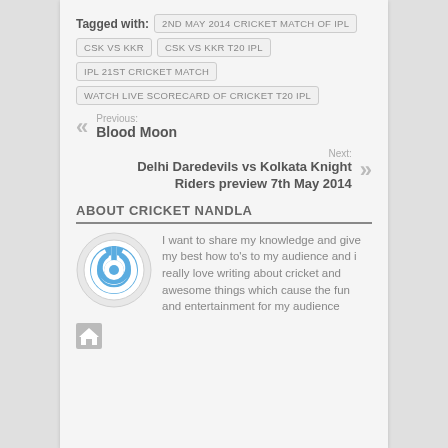Tagged with: 2ND MAY 2014 CRICKET MATCH OF IPL | CSK VS KKR | CSK VS KKR T20 IPL | IPL 21ST CRICKET MATCH | WATCH LIVE SCORECARD OF CRICKET T20 IPL
Previous: Blood Moon
Next: Delhi Daredevils vs Kolkata Knight Riders preview 7th May 2014
ABOUT CRICKET NANDLA
I want to share my knowledge and give my best how to's to my audience and i really love writing about cricket and awesome things which cause the fun and entertainment for my audience
[Figure (logo): Blue circular power button icon]